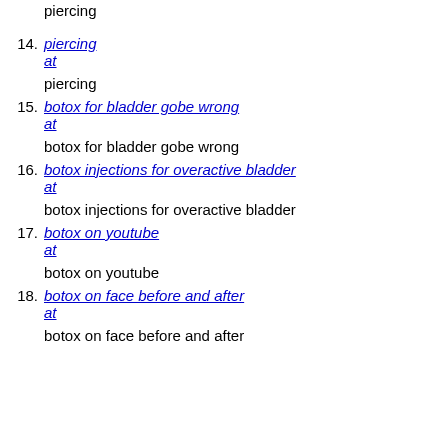piercing (top, partial)
14. piercing at
piercing
15. botox for bladder gobe wrong at
botox for bladder gobe wrong
16. botox injections for overactive bladder at
botox injections for overactive bladder
17. botox on youtube at
botox on youtube
18. botox on face before and after at
botox on face before and after